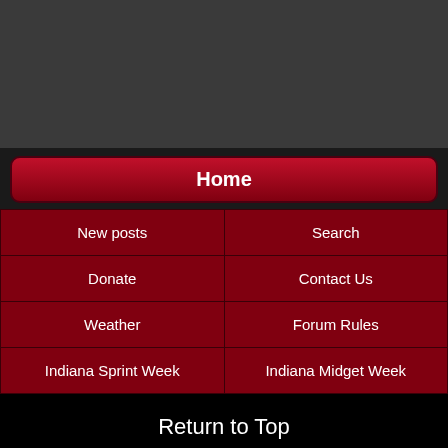[Figure (screenshot): Dark gray background area at top of page]
Home
| New posts | Search |
| Donate | Contact Us |
| Weather | Forum Rules |
| Indiana Sprint Week | Indiana Midget Week |
Return to Top
-- Default Style
Powered by vBulletin® Version 3.8.7
Copyright ©2000 - 2022, vBulletin Solutions, Inc.